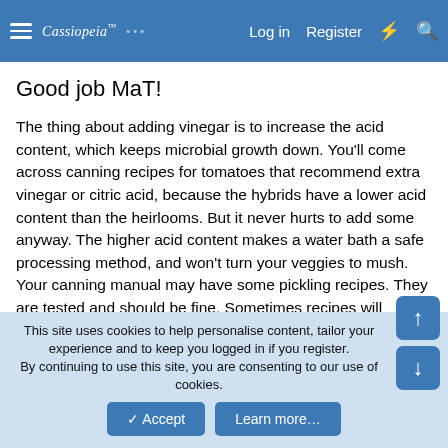Cassiopeia  Log in  Register
Good job MaT!
The thing about adding vinegar is to increase the acid content, which keeps microbial growth down. You'll come across canning recipes for tomatoes that recommend extra vinegar or citric acid, because the hybrids have a lower acid content than the heirlooms. But it never hurts to add some anyway. The higher acid content makes a water bath a safe processing method, and won't turn your veggies to mush. Your canning manual may have some pickling recipes. They are tested and should be fine. Sometimes recipes will specify the vinegar strength you need. In the States we can sometimes get 'pickling vinegar' which is slightly stronger
This site uses cookies to help personalise content, tailor your experience and to keep you logged in if you register.
By continuing to use this site, you are consenting to our use of cookies.